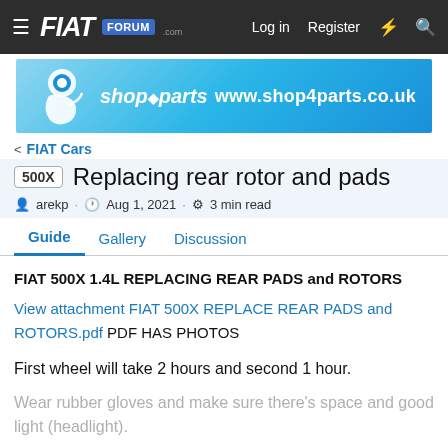FIAT Forum — Log in   Register
[Figure (screenshot): shop4parts.co.uk advertisement banner with logo and URL www.shop4parts.couk]
< FIAT Cars
500X  Replacing rear rotor and pads
arekp · Aug 1, 2021 · 3 min read
Guide   Gallery   Discussion
FIAT 500X 1.4L REPLACING REAR PADS and ROTORS
View attachment FIAT 500X REPLACE REAR PADS and ROTORS.pdf PDF HAS PHOTOS
First wheel will take 2 hours and second 1 hour.
Wear rubber gloves and make sure there's space and good light (headlight).